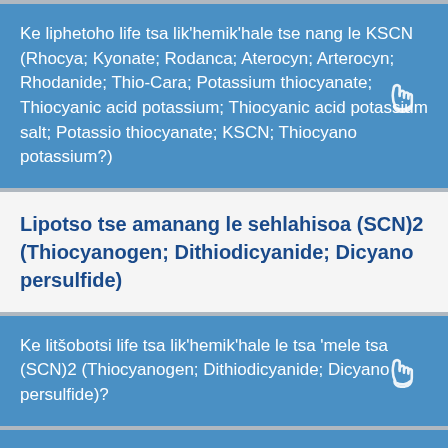Ke liphetoho life tsa lik'hemik'hale tse nang le KSCN (Rhocya; Kyonate; Rodanca; Aterocyn; Arterocyn; Rhodanide; Thio-Cara; Potassium thiocyanate; Thiocyanic acid potassium; Thiocyanic acid potassium salt; Potassio thiocyanate; KSCN; Thiocyano potassium?)
Lipotso tse amanang le sehlahisoa (SCN)2 (Thiocyanogen; Dithiodicyanide; Dicyano persulfide)
Ke litšobotsi life tsa lik'hemik'hale le tsa 'mele tsa (SCN)2 (Thiocyanogen; Dithiodicyanide; Dicyano persulfide)?
Ke liphetoho life tsa lik'hemik'hale tse nang le